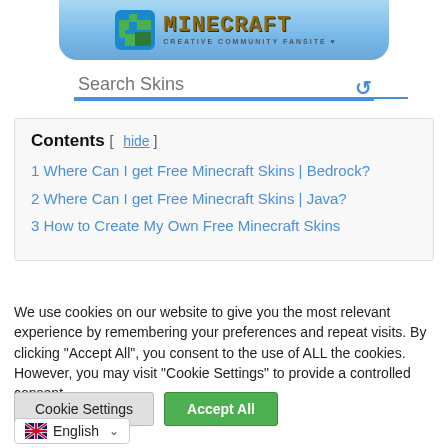[Figure (logo): Minecraft Creative Community Fansite logo with globe graphic and Minecraft-style title text on a blue banner]
[Figure (screenshot): Search Skins input field with loading spinner]
1 Where Can I get Free Minecraft Skins | Bedrock?
2 Where Can I get Free Minecraft Skins | Java?
3 How to Create My Own Free Minecraft Skins
We use cookies on our website to give you the most relevant experience by remembering your preferences and repeat visits. By clicking "Accept All", you consent to the use of ALL the cookies. However, you may visit "Cookie Settings" to provide a controlled consent.
Cookie Settings  Accept All
English